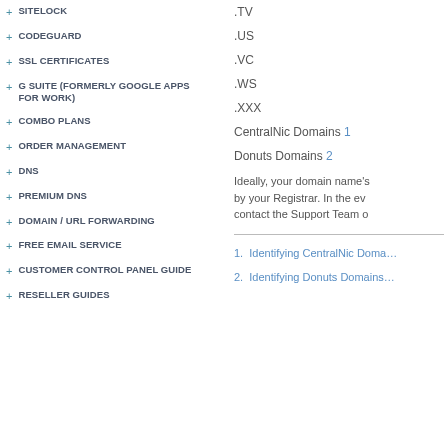+ SITELOCK
+ CODEGUARD
+ SSL CERTIFICATES
+ G SUITE (FORMERLY GOOGLE APPS FOR WORK)
+ COMBO PLANS
+ ORDER MANAGEMENT
+ DNS
+ PREMIUM DNS
+ DOMAIN / URL FORWARDING
+ FREE EMAIL SERVICE
+ CUSTOMER CONTROL PANEL GUIDE
+ RESELLER GUIDES
.TV
.US
.VC
.WS
.XXX
CentralNic Domains 1
Donuts Domains 2
Ideally, your domain name's by your Registrar. In the ev contact the Support Team o
1. Identifying CentralNic Doma...
2. Identifying Donuts Domains...